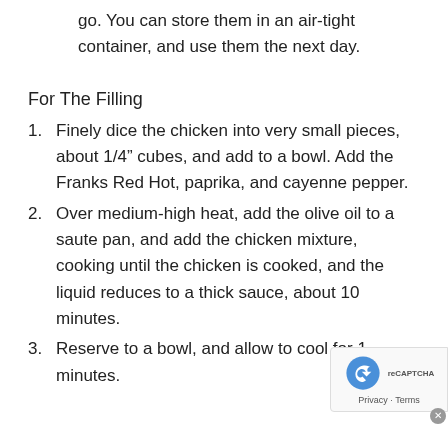go. You can store them in an air-tight container, and use them the next day.
For The Filling
1. Finely dice the chicken into very small pieces, about 1/4” cubes, and add to a bowl. Add the Franks Red Hot, paprika, and cayenne pepper.
2. Over medium-high heat, add the olive oil to a saute pan, and add the chicken mixture, cooking until the chicken is cooked, and the liquid reduces to a thick sauce, about 10 minutes.
3. Reserve to a bowl, and allow to cool for 1 minutes.